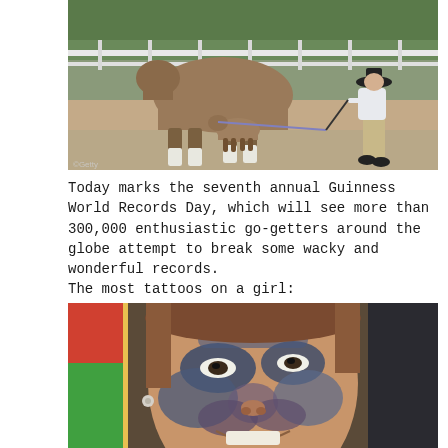[Figure (photo): A large horse next to a tiny miniature horse, with a person in a hat and light clothing leading the horses in an outdoor arena with white fencing and green trees in background. Getty watermark visible in bottom left.]
Today marks the seventh annual Guinness World Records Day, which will see more than 300,000 enthusiastic go-getters around the globe attempt to break some wacky and wonderful records.
The most tattoos on a girl:
[Figure (photo): Close-up photo of a smiling woman with extensive tattoos covering her face, including around her eyes, cheeks, and nose. She has small earrings and reddish-brown hair.]